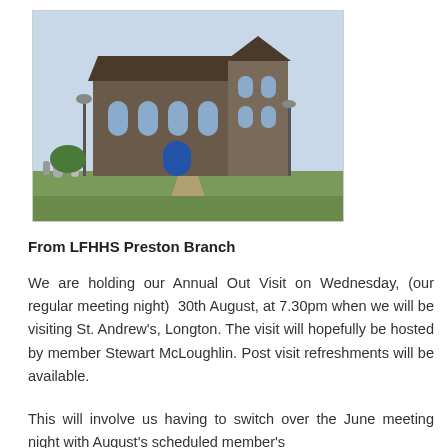[Figure (photo): Photo of St. Andrew's church, Longton — a stone Gothic-style church with a blue door, graveyard headstones in the foreground, and lamp posts on the street.]
From LFHHS Preston Branch
We are holding our Annual Out Visit on Wednesday, (our regular meeting night)  30th August, at 7.30pm when we will be visiting St. Andrew's, Longton. The visit will hopefully be hosted by member Stewart McLoughlin. Post visit refreshments will be available.
This will involve us having to switch over the June meeting night with August's scheduled member's